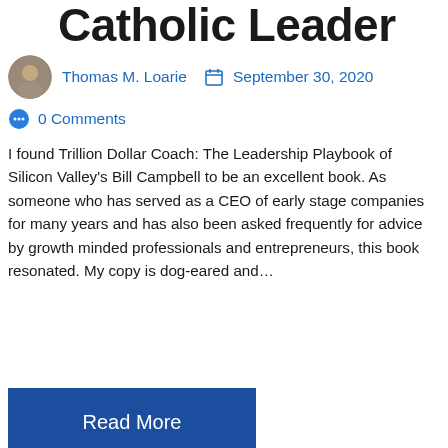Catholic Leader
Thomas M. Loarie   September 30, 2020   0 Comments
I found Trillion Dollar Coach: The Leadership Playbook of Silicon Valley's Bill Campbell to be an excellent book. As someone who has served as a CEO of early stage companies for many years and has also been asked frequently for advice by growth minded professionals and entrepreneurs, this book resonated. My copy is dog-eared and…
Read More
[Figure (photo): Cropped photograph of an older man with grey hair, partially visible from forehead to chin, appearing outdoors with a blurred green background.]